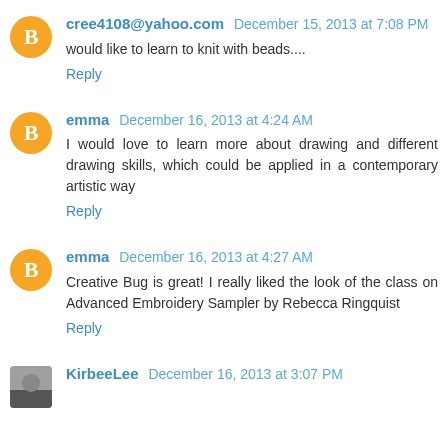cree4108@yahoo.com December 15, 2013 at 7:08 PM
would like to learn to knit with beads....
Reply
emma December 16, 2013 at 4:24 AM
I would love to learn more about drawing and different drawing skills, which could be applied in a contemporary artistic way
Reply
emma December 16, 2013 at 4:27 AM
Creative Bug is great! I really liked the look of the class on Advanced Embroidery Sampler by Rebecca Ringquist
Reply
KirbeeLee December 16, 2013 at 3:07 PM